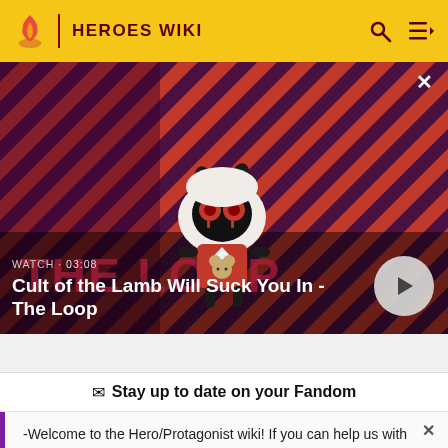HEROES WIKI
[Figure (screenshot): Video thumbnail for 'Cult of the Lamb Will Suck You In - The Loop' showing a cartoon lamb character with red eyes on a striped red and dark background with text overlay. Duration shown: 03:08.]
Stay up to date on your Fandom
-Welcome to the Hero/Protagonist wiki! If you can help us with this wiki please sign up and help us! Thanks! -M-NUva